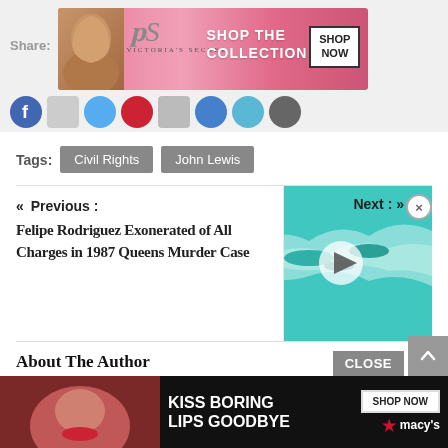[Figure (other): Victoria's Secret advertisement banner with model and 'SHOP THE COLLECTION / SHOP NOW' text]
Share:
[Figure (other): Social media sharing icons row: Facebook, and other social platforms]
Tags:
Civil Rights
John Lewis
« Previous :
Felipe Rodriguez Exonerated of All Charges in 1987 Queens Murder Case
Next : »
[Figure (photo): Aerial photo of coral reef / Great Barrier Reef with video play button overlay]
About The Author
David Greenwald
[Figure (other): Macy's advertisement banner: 'KISS BORING LIPS GOODBYE' with SHOP NOW button and Macy's star logo]
CLOSE